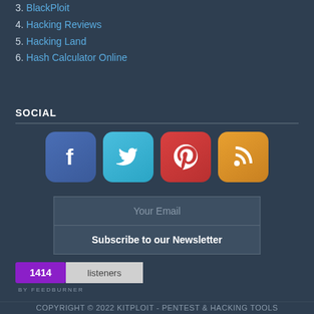3. BlackPloit
4. Hacking Reviews
5. Hacking Land
6. Hash Calculator Online
SOCIAL
[Figure (illustration): Four social media icon buttons: Facebook (blue), Twitter (light blue), Pinterest (red), RSS (orange)]
Your Email
Subscribe to our Newsletter
[Figure (illustration): FeedBurner badge showing 1414 listeners]
COPYRIGHT © 2022 KITPLOIT - PENTEST & HACKING TOOLS